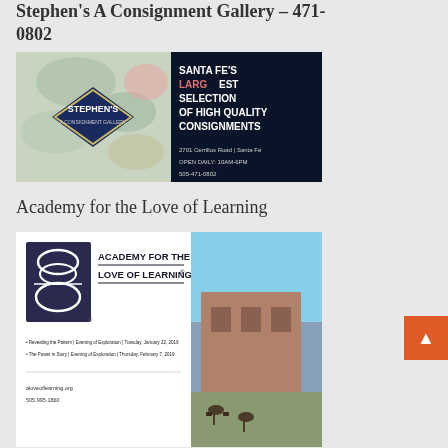Stephen's A Consignment Gallery – 471-0802
[Figure (photo): Advertisement for Stephen's A Consignment Gallery. Left half shows decorative floral/wave pattern with a navy diamond shape containing the text 'STEPHEN'S A CONSIGNMENT GALLERY'. Right half on dark navy background reads: 'SANTA FE'S LARGEST SELECTION OF HIGH QUALITY CONSIGNMENTS' with address '2701 Cerrillos Road | Santa Fe', 'OPEN DAILY: 10AM-6PM', '505-471-0802'.]
Academy for the Love of Learning
[Figure (photo): Advertisement for Academy for the Love of Learning. White/dark background with logo and bold text 'ACADEMY FOR THE LOVE OF LEARNING'. Lists events: 'Revealing the Pattern | Evening of Exploration | Tuesday, January 22, 2019' and 'The Power in Story | Evening of Exploration | Thursday, February 7, 2019'. Website aloveoflearning.org and phone 505.995.1860. Right half shows exterior photo of a building with outdoor seating.]